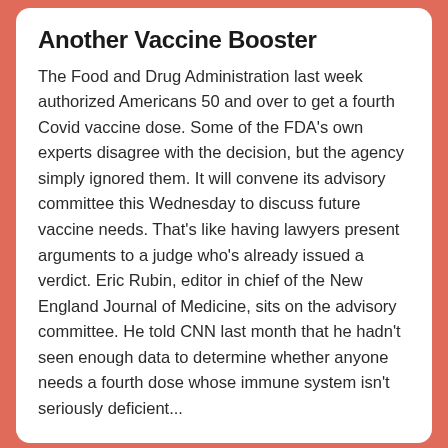Another Vaccine Booster
The Food and Drug Administration last week authorized Americans 50 and over to get a fourth Covid vaccine dose. Some of the FDA's own experts disagree with the decision, but the agency simply ignored them. It will convene its advisory committee this Wednesday to discuss future vaccine needs. That's like having lawyers present arguments to a judge who's already issued a verdict. Eric Rubin, editor in chief of the New England Journal of Medicine, sits on the advisory committee. He told CNN last month that he hadn't seen enough data to determine whether anyone needs a fourth dose whose immune system isn't seriously deficient...